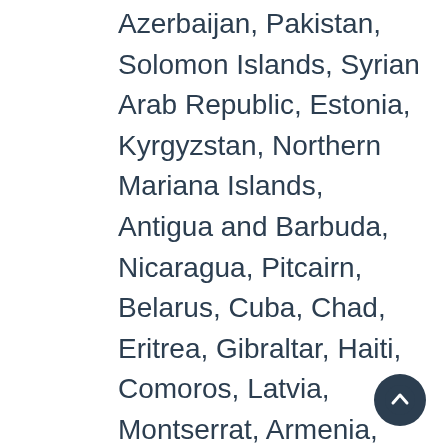Azerbaijan, Pakistan, Solomon Islands, Syrian Arab Republic, Estonia, Kyrgyzstan, Northern Mariana Islands, Antigua and Barbuda, Nicaragua, Pitcairn, Belarus, Cuba, Chad, Eritrea, Gibraltar, Haiti, Comoros, Latvia, Montserrat, Armenia, Bulgaria, Guinea, Ireland, Monaco, Democratic Republic of the Congo, Sierra Leone, Germany, Greece, Islamic Republic of Iran, Kazakhstan, Madagascar, Serbia, Somalia, United States Virgin Islands, Mali, Philippines, Bahamas, Saudi Arabia, China, Georgia, Liberia, Afghanistan, Barbados, Botswana, Sudan, Turks and Caicos Islands, Ukraine, Ghana, Mayotte, Croatia, Mauritania, Burkina Faso, Saint Helena, Curaçao, Togo, Ethiopia, United States, Gambia, Zimbabwe, Korea (North) , Morocco, Burundi, Central African Republic, Slovakia, Falkland Islands (Malvinas), Iraq, Cayman Islands, American Samoa,